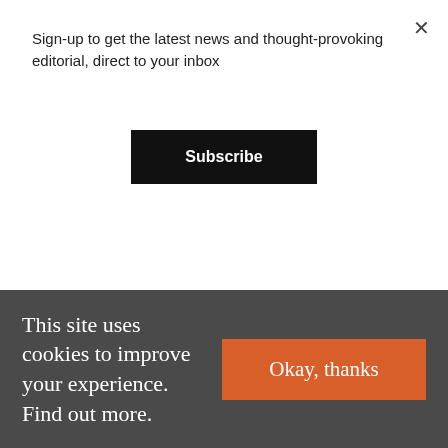Sign-up to get the latest news and thought-provoking editorial, direct to your inbox
Subscribe
Glasgow Life and Deputy Leader of Glasgow City Council said: “When The Burrell Collection first opened in 1983, the museum was the first tangible sign of Glasgow’s ambition to reinvent its global image and become an internationally-
This site uses cookies to improve your experience. Find out more.
Okay, thanks